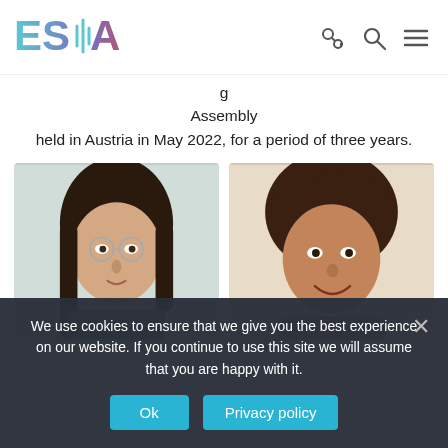[Figure (logo): ESLA logo with sound wave icon in teal/purple gradient colors]
Assembly
held in Austria in May 2022, for a period of three years.
[Figure (photo): Photo of a woman with glasses and long dark hair]
[Figure (photo): Photo of a woman with curly dark hair, smiling]
We use cookies to ensure that we give you the best experience on our website. If you continue to use this site we will assume that you are happy with it.